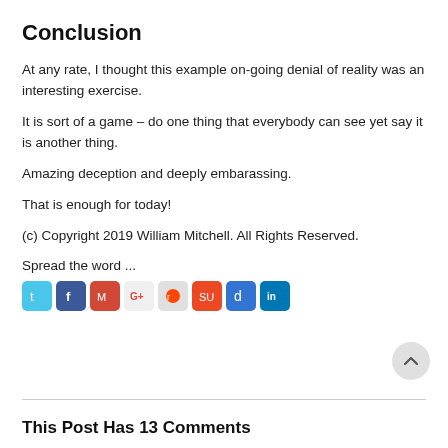Conclusion
At any rate, I thought this example on-going denial of reality was an interesting exercise.
It is sort of a game – do one thing that everybody can see yet say it is another thing.
Amazing deception and deeply embarassing.
That is enough for today!
(c) Copyright 2019 William Mitchell. All Rights Reserved.
Spread the word ...
[Figure (infographic): Row of social media sharing icons: Twitter, Facebook, Gmail, Google+, Reddit, StumbleUpon, Delicious, LinkedIn]
This Post Has 13 Comments